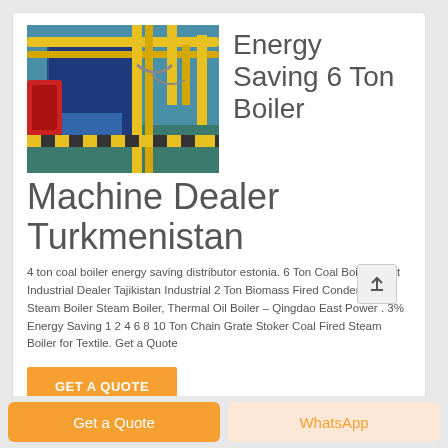[Figure (photo): Industrial boiler facility with yellow pipes and red/blue machinery on a green floor]
Energy Saving 6 Ton Boiler Machine Dealer Turkmenistan
4 ton coal boiler energy saving distributor estonia. 6 Ton Coal Boiler Plant Industrial Dealer Tajikistan Industrial 2 Ton Biomass Fired Condensing Steam Boiler Steam Boiler, Thermal Oil Boiler – Qingdao East Power . 3% Energy Saving 1 2 4 6 8 10 Ton Chain Grate Stoker Coal Fired Steam Boiler for Textile. Get a Quote
GET A QUOTE
Get a Quote
WhatsApp